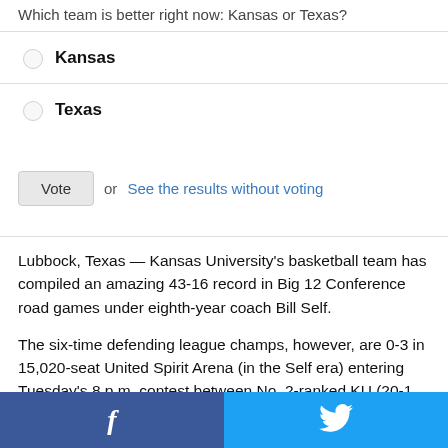Which team is better right now: Kansas or Texas?
Kansas
Texas
Vote  or  See the results without voting
Lubbock, Texas — Kansas University's basketball team has compiled an amazing 43-16 record in Big 12 Conference road games under eighth-year coach Bill Self.
The six-time defending league champs, however, are 0-3 in 15,020-seat United Spirit Arena (in the Self era) entering Tuesday's 8 p.m. contest between No. 2-ranked KU (20-1, 5-1) and unrated Texas Tech (11-11, 3-4).
Facebook  Twitter